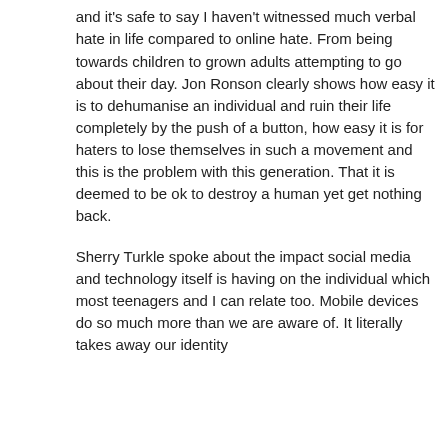and it's safe to say I haven't witnessed much verbal hate in life compared to online hate. From being towards children to grown adults attempting to go about their day. Jon Ronson clearly shows how easy it is to dehumanise an individual and ruin their life completely by the push of a button, how easy it is for haters to lose themselves in such a movement and this is the problem with this generation. That it is deemed to be ok to destroy a human yet get nothing back.
Sherry Turkle spoke about the impact social media and technology itself is having on the individual which most teenagers and I can relate too. Mobile devices do so much more than we are aware of. It literally takes away our identity